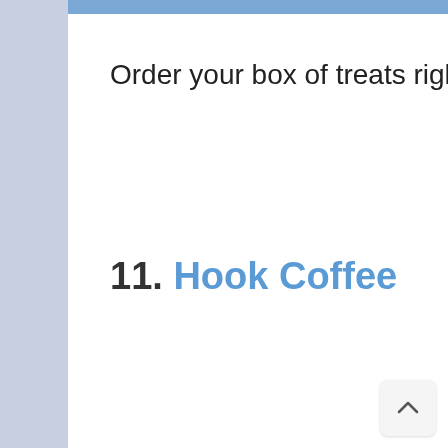Order your box of treats right here. Bon appetite!
11. Hook Coffee